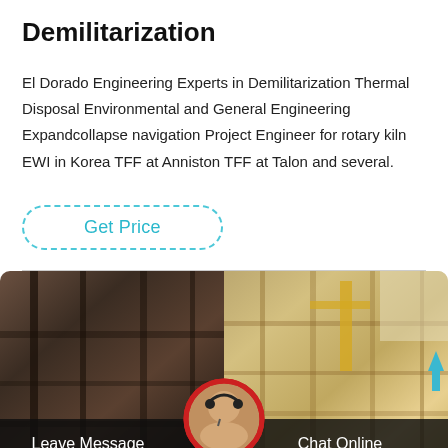Demilitarization
El Dorado Engineering Experts in Demilitarization Thermal Disposal Environmental and General Engineering Expandcollapse navigation Project Engineer for rotary kiln EWI in Korea TFF at Anniston TFF at Talon and several.
Get Price
[Figure (photo): Industrial facility background showing two panels: left panel with dark metal scaffolding/industrial structure with workers, right panel with a large warehouse/factory interior with yellow cranes and steel structures. Bottom overlay bar shows 'Leave Message' and 'Chat Online' text with a customer service representative avatar in the center.]